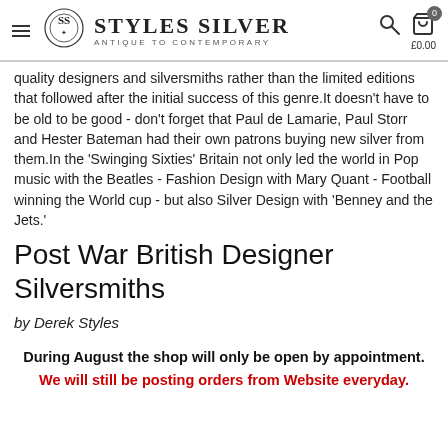Styles Silver — Antique to Contemporary
quality designers and silversmiths rather than the limited editions that followed after the initial success of this genre.It doesn't have to be old to be good - don't forget that Paul de Lamarie, Paul Storr and Hester Bateman had their own patrons buying new silver from them.In the 'Swinging Sixties' Britain not only led the world in Pop music with the Beatles - Fashion Design with Mary Quant - Football winning the World cup - but also Silver Design with 'Benney and the Jets.'
Post War British Designer Silversmiths
by Derek Styles
During August the shop will only be open by appointment. We will still be posting orders from Website everyday.